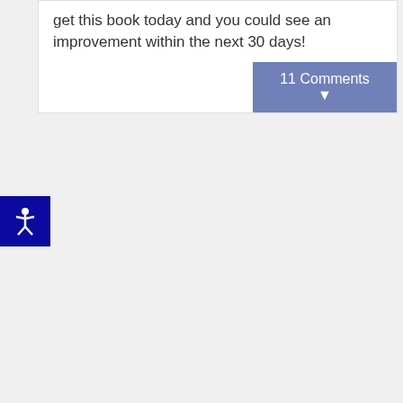get this book today and you could see an improvement within the next 30 days!
11 Comments ▼
[Figure (illustration): Accessibility icon: white stick figure with arms and legs spread on a dark navy blue square background]